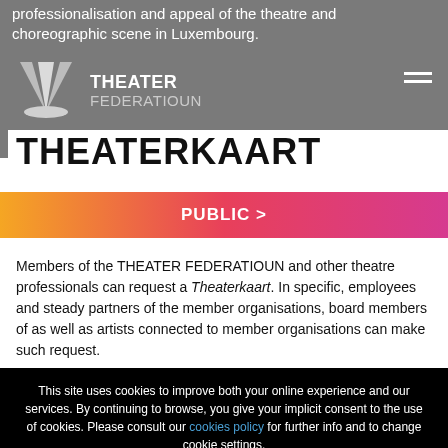professionalisation and appeal of the theatre and choreographic scene in Luxembourg.
[Figure (logo): Theater Federatioun logo with spotlights graphic and text THEATER FEDERATIOUN]
THEATERKAART
PUBLIC >
Members of the THEATER FEDERATIOUN and other theatre professionals can request a Theaterkaart. In specific, employees and steady partners of the member organisations, board members of as well as artists connected to member organisations can make such request.
The Theaterkaart is valid for two years and allows the holder
This site uses cookies to improve both your online experience and our services. By continuing to browse, you give your implicit consent to the use of cookies. Please consult our cookies policy for further info and to change cookie settings.
I AGREE
CUSTOMISE